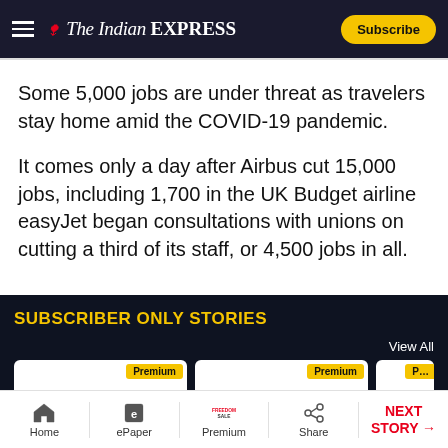The Indian EXPRESS — Subscribe
Some 5,000 jobs are under threat as travelers stay home amid the COVID-19 pandemic.
It comes only a day after Airbus cut 15,000 jobs, including 1,700 in the UK Budget airline easyJet began consultations with unions on cutting a third of its staff, or 4,500 jobs in all.
SUBSCRIBER ONLY STORIES
View All
Home | ePaper | Premium FREEDOM SALE | Share | NEXT STORY →